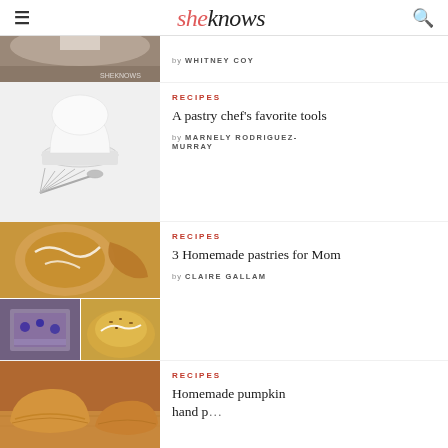sheknows
[Figure (photo): Partial view of a food photo with sheknows watermark, partially cut off at top]
by WHITNEY COY
[Figure (photo): White chef's hat and metal whisk on white background]
RECIPES
A pastry chef's favorite tools
by MARNELY RODRIGUEZ-MURRAY
[Figure (photo): Grid of homemade pastry photos: glazed buns/rolls, blueberry pastry, sliced pastry on plate, iced bun with nuts]
RECIPES
3 Homemade pastries for Mom
by CLAIRE GALLAM
[Figure (photo): Pumpkin hand pies on wooden cutting board, partially visible]
RECIPES
Homemade pumpkin hand pies (partial, cut off)